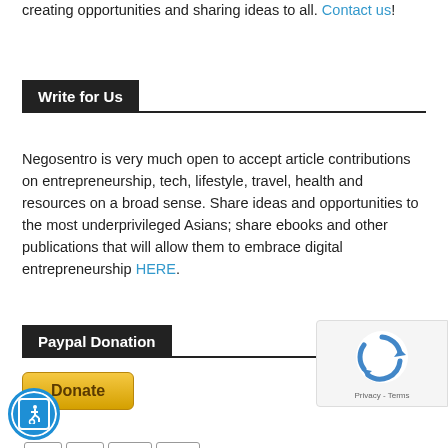creating opportunities and sharing ideas to all. Contact us!
Write for Us
Negosentro is very much open to accept article contributions on entrepreneurship, tech, lifestyle, travel, health and resources on a broad sense. Share ideas and opportunities to the most underprivileged Asians; share ebooks and other publications that will allow them to embrace digital entrepreneurship HERE.
Paypal Donation
[Figure (other): PayPal Donate button with accepted payment card icons (Visa, American Express, Discover, Bank)]
[Figure (other): reCAPTCHA badge with privacy and terms text]
[Figure (other): Accessibility button (blue circle with wheelchair icon)]